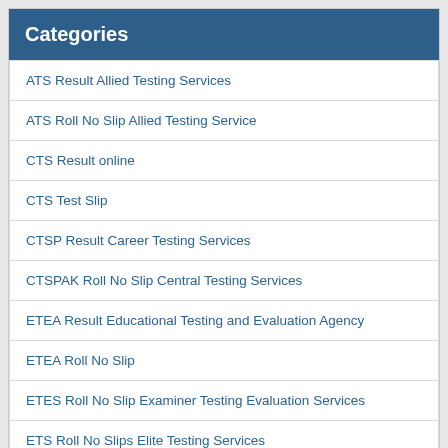Categories
ATS Result Allied Testing Services
ATS Roll No Slip Allied Testing Service
CTS Result online
CTS Test Slip
CTSP Result Career Testing Services
CTSPAK Roll No Slip Central Testing Services
ETEA Result Educational Testing and Evaluation Agency
ETEA Roll No Slip
ETES Roll No Slip Examiner Testing Evaluation Services
ETS Roll No Slips Elite Testing Services
Govt jobs in Lahore Matric Base Today Ads 2022
ITSPAK Roll No Slip Interior Testing Service
KPTA Roll No Slip KP Testing Agency